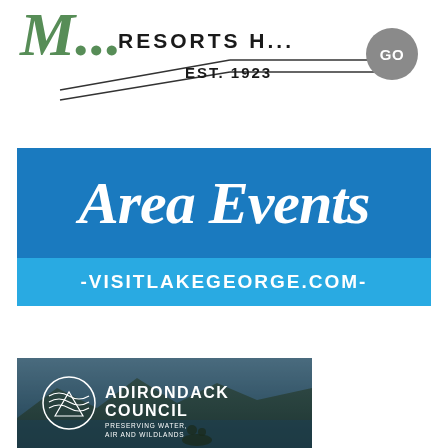[Figure (logo): Partial resort logo with script text, 'RESORTS' in bold serif, 'EST. 1923' with decorative lines, and a circular GO button]
[Figure (logo): Area Events banner with script text 'Area Events' on blue background, and light blue bar reading '-VISITLAKEGEORGE.COM-']
[Figure (logo): Adirondack Council logo with circular emblem and text 'ADIRONDACK COUNCIL PRESERVING WATER, AIR AND WILDLANDS' over a lake/mountain photo background]